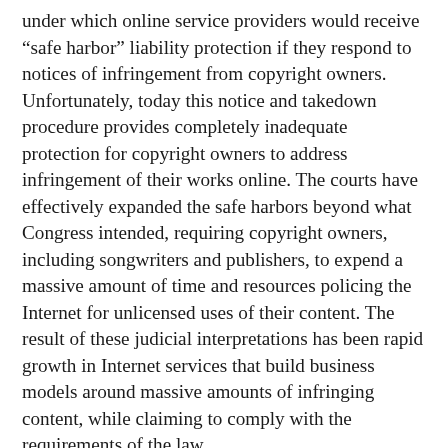under which online service providers would receive “safe harbor” liability protection if they respond to notices of infringement from copyright owners. Unfortunately, today this notice and takedown procedure provides completely inadequate protection for copyright owners to address infringement of their works online. The courts have effectively expanded the safe harbors beyond what Congress intended, requiring copyright owners, including songwriters and publishers, to expend a massive amount of time and resources policing the Internet for unlicensed uses of their content. The result of these judicial interpretations has been rapid growth in Internet services that build business models around massive amounts of infringing content, while claiming to comply with the requirements of the law.
The DMCA has created a market distortion enabling service providers that in reality function as content